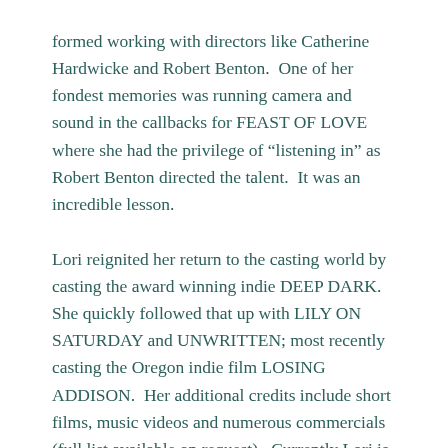formed working with directors like Catherine Hardwicke and Robert Benton.  One of her fondest memories was running camera and sound in the callbacks for FEAST OF LOVE where she had the privilege of “listening in” as Robert Benton directed the talent.  It was an incredible lesson.
Lori reignited her return to the casting world by casting the award winning indie DEEP DARK. She quickly followed that up with LILY ON SATURDAY and UNWRITTEN; most recently casting the Oregon indie film LOSING ADDISON.  Her additional credits include short films, music videos and numerous commercials (full list available on request).  Currently Lori is in discussions to cast several projects in development.
Lori has a great way of connecting with actors and putting them at ease during auditions.  She credits this